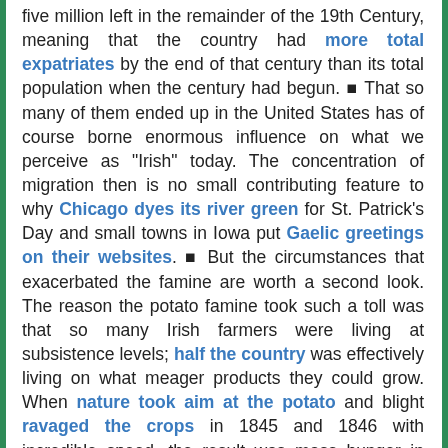five million left in the remainder of the 19th Century, meaning that the country had more total expatriates by the end of that century than its total population when the century had begun. ■ That so many of them ended up in the United States has of course borne enormous influence on what we perceive as "Irish" today. The concentration of migration then is no small contributing feature to why Chicago dyes its river green for St. Patrick's Day and small towns in Iowa put Gaelic greetings on their websites. ■ But the circumstances that exacerbated the famine are worth a second look. The reason the potato famine took such a toll was that so many Irish farmers were living at subsistence levels; half the country was effectively living on what meager products they could grow. When nature took aim at the potato and blight ravaged the crops in 1845 and 1846 with incredible speed, the result was mass hunger in practically no time at all. ■ The mismanagement of Ireland by the imperial British government did the Irish considerable harm in the immediate sense, as the response to hunger was slow and in some cases completely contrary to sound reasoning. But on a long-term basis, it appears that the British domination of the island (and the favoritism shown to British manufacturing) actually de-industrialized Ireland in the period leading up to the famine. ■ Had the country been free to pursue the